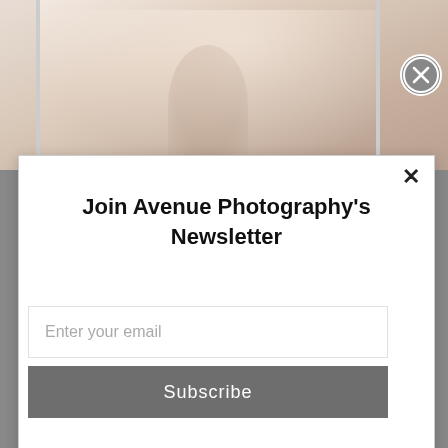[Figure (photo): Background photo of a person in a soft, warm-toned outdoor setting, partially visible behind modal overlay]
Join Avenue Photography's Newsletter
[Figure (logo): Avenue Photography logo — large spaced letters 'AVENUE' above smaller spaced text 'PHO+OGRAPHY']
AVENUE Photography © 2016. All Rights Reserved. | Newsletter Signup
Enter your email
Subscribe